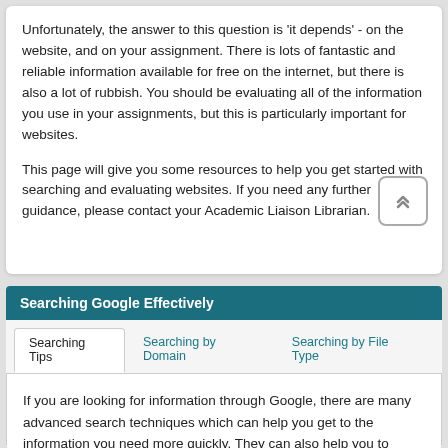Unfortunately, the answer to this question is 'it depends' - on the website, and on your assignment. There is lots of fantastic and reliable information available for free on the internet, but there is also a lot of rubbish. You should be evaluating all of the information you use in your assignments, but this is particularly important for websites.
This page will give you some resources to help you get started with searching and evaluating websites. If you need any further guidance, please contact your Academic Liaison Librarian.
Searching Google Effectively
Searching Tips
Searching by Domain
Searching by File Type
If you are looking for information through Google, there are many advanced search techniques which can help you get to the information you need more quickly. They can also help you to